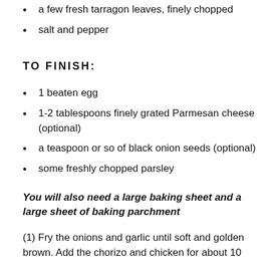a few fresh tarragon leaves, finely chopped
salt and pepper
TO FINISH:
1 beaten egg
1-2 tablespoons finely grated Parmesan cheese (optional)
a teaspoon or so of black onion seeds (optional)
some freshly chopped parsley
You will also need a large baking sheet and a large sheet of baking parchment
(1) Fry the onions and garlic until soft and golden brown. Add the chorizo and chicken for about 10